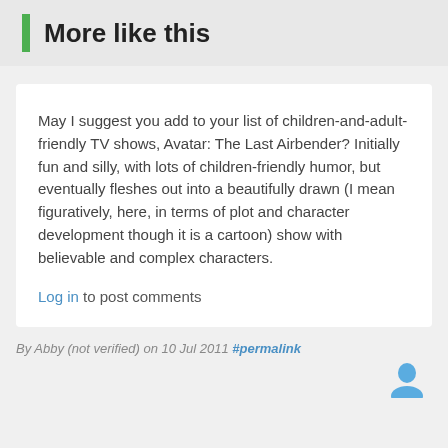More like this
May I suggest you add to your list of children-and-adult-friendly TV shows, Avatar: The Last Airbender? Initially fun and silly, with lots of children-friendly humor, but eventually fleshes out into a beautifully drawn (I mean figuratively, here, in terms of plot and character development though it is a cartoon) show with believable and complex characters.
Log in to post comments
By Abby (not verified) on 10 Jul 2011 #permalink